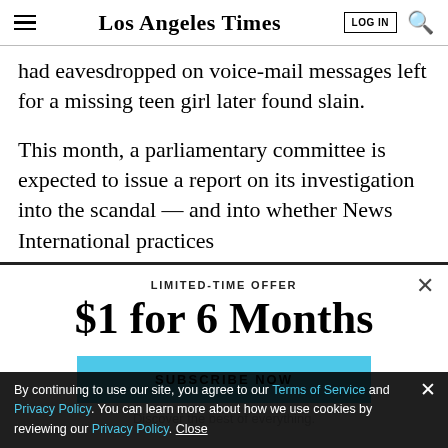Los Angeles Times
had eavesdropped on voice-mail messages left for a missing teen girl later found slain.
This month, a parliamentary committee is expected to issue a report on its investigation into the scandal — and into whether News International practices extended...
LIMITED-TIME OFFER
$1 for 6 Months
SUBSCRIBE NOW
By continuing to use our site, you agree to our Terms of Service and Privacy Policy. You can learn more about how we use cookies by reviewing our Privacy Policy. Close